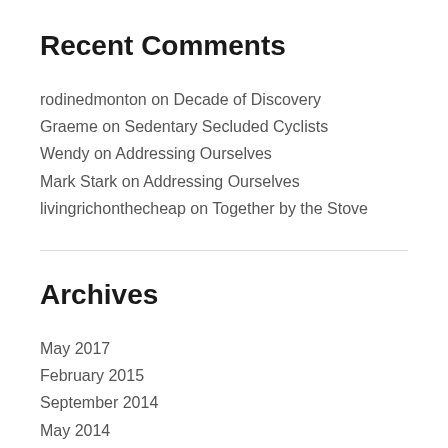Recent Comments
rodinedmonton on Decade of Discovery
Graeme on Sedentary Secluded Cyclists
Wendy on Addressing Ourselves
Mark Stark on Addressing Ourselves
livingrichonthecheap on Together by the Stove
Archives
May 2017
February 2015
September 2014
May 2014
February 2014
September 2013
January 2013
May 2012
April 2012